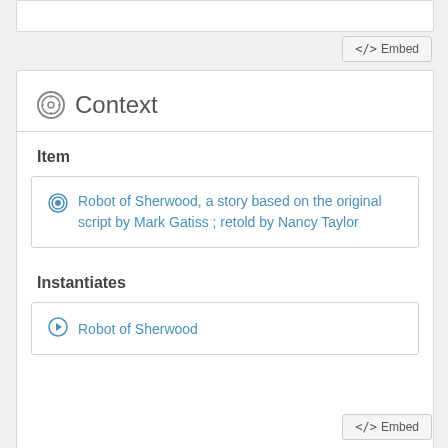[Figure (screenshot): Partial top edge of a white card/panel, partially visible at the top of the page]
<> Embed
Context
Item
Robot of Sherwood, a story based on the original script by Mark Gatiss ; retold by Nancy Taylor
Instantiates
Robot of Sherwood
<> Embed